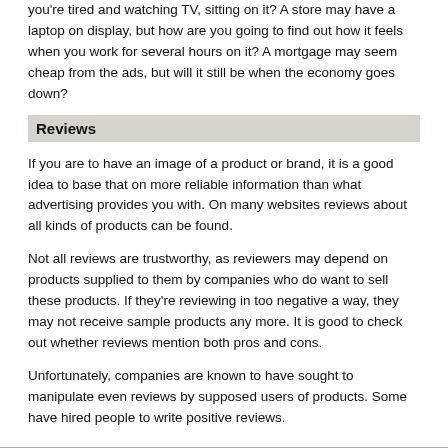you're tired and watching TV, sitting on it? A store may have a laptop on display, but how are you going to find out how it feels when you work for several hours on it? A mortgage may seem cheap from the ads, but will it still be when the economy goes down?
Reviews
If you are to have an image of a product or brand, it is a good idea to base that on more reliable information than what advertising provides you with. On many websites reviews about all kinds of products can be found.
Not all reviews are trustworthy, as reviewers may depend on products supplied to them by companies who do want to sell these products. If they're reviewing in too negative a way, they may not receive sample products any more. It is good to check out whether reviews mention both pros and cons.
Unfortunately, companies are known to have sought to manipulate even reviews by supposed users of products. Some have hired people to write positive reviews.